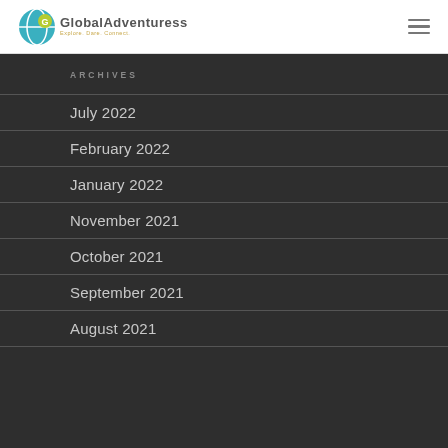Global Adventuress — Explore. Dare. Connect.
ARCHIVES
July 2022
February 2022
January 2022
November 2021
October 2021
September 2021
August 2021